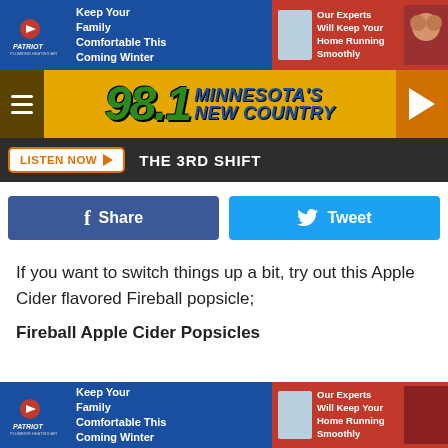[Figure (screenshot): Patriot Plumbing Heating Air advertisement banner - blue and red background with 'Keep Your Family Comfortable This Coming Winter' and 'Our Experts Will Keep Your Home Running Smoothly']
[Figure (logo): 98.1 Minnesota's New Country radio station header with hamburger menu and play button]
LISTEN NOW ▶  THE 3RD SHIFT
[Figure (infographic): Facebook Share button and Twitter Tweet button]
If you want to switch things up a bit, try out this Apple Cider flavored Fireball popsicle;
Fireball Apple Cider Popsicles
[Figure (screenshot): Patriot Plumbing Heating Air advertisement banner at bottom - same as top banner]